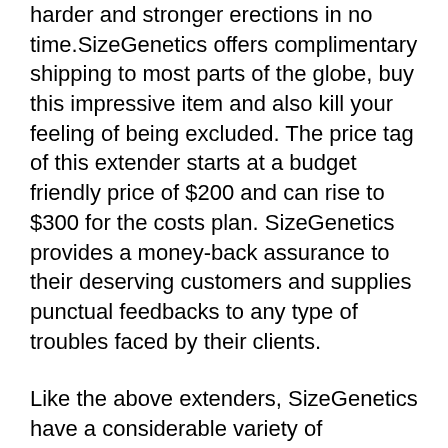harder and stronger erections in no time.SizeGenetics offers complimentary shipping to most parts of the globe, buy this impressive item and also kill your feeling of being excluded. The price tag of this extender starts at a budget friendly price of $200 and can rise to $300 for the costs plan. SizeGenetics provides a money-back assurance to their deserving customers and supplies punctual feedbacks to any type of troubles faced by their clients.
Like the above extenders, SizeGenetics have a considerable variety of testimonials, giving you an estimate of its success rate. With live conversation support, SizeGenetics makes sure all your inquiries are addressed at a glimpse.